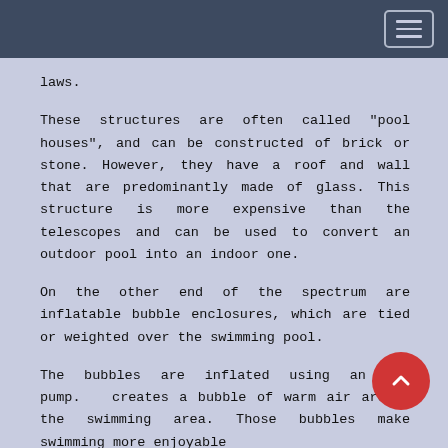laws.
These structures are often called "pool houses", and can be constructed of brick or stone. However, they have a roof and wall that are predominantly made of glass. This structure is more expensive than the telescopes and can be used to convert an outdoor pool into an indoor one.
On the other end of the spectrum are inflatable bubble enclosures, which are tied or weighted over the swimming pool.
The bubbles are inflated using an air pump. creates a bubble of warm air around the swimming area. Those bubbles make swimming more enjoyable